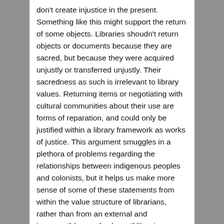don't create injustice in the present. Something like this might support the return of some objects. Libraries shoudn't return objects or documents because they are sacred, but because they were acquired unjustly or transferred unjustly. Their sacredness as such is irrelevant to library values. Returning items or negotiating with cultural communities about their use are forms of reparation, and could only be justified within a library framework as works of justice. This argument smuggles in a plethora of problems regarding the relationships between indigenous peoples and colonists, but it helps us make more sense of some of these statements from within the value structure of librarians, rather than from an external and incompatible set of values. If libraries were to return objects or restrict access, it's not because the objects are sacred or because they're "expressions" of a culture. That could be said of many objects and texts and carries no special weight for librarians. Instead, it would be because the objects or texts were acquired or transferred unjustly at some point, and their return itself wouldn't cause injustice in the